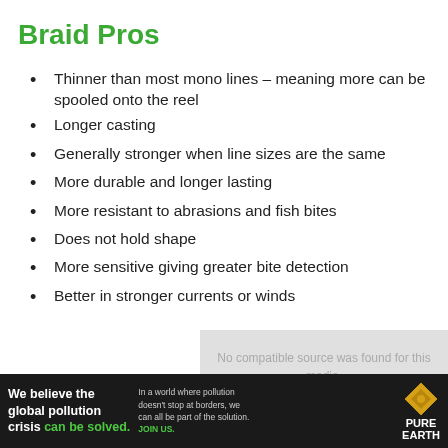Braid Pros
Thinner than most mono lines – meaning more can be spooled onto the reel
Longer casting
Generally stronger when line sizes are the same
More durable and longer lasting
More resistant to abrasions and fish bites
Does not hold shape
More sensitive giving greater bite detection
Better in stronger currents or winds
[Figure (other): Gray box with text: No compatible source was found for this media.]
[Figure (other): Advertisement banner for Pure Earth: We believe the global pollution crisis can be solved. In a world where pollution doesn't stop at borders, we can all be part of the solution. JOIN US. Pure Earth logo.]